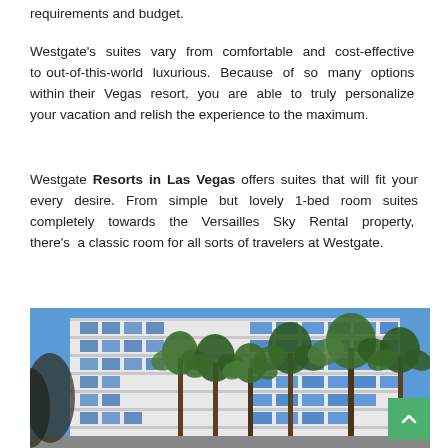requirements and budget.
Westgate's suites vary from comfortable and cost-effective to out-of-this-world luxurious. Because of so many options within their Vegas resort, you are able to truly personalize your vacation and relish the experience to the maximum.
Westgate Resorts in Las Vegas offers suites that will fit your every desire. From simple but lovely 1-bed room suites completely towards the Versailles Sky Rental property, there's a classic room for all sorts of travelers at Westgate.
[Figure (photo): Exterior photograph of Westgate Resort in Las Vegas: a large white multi-story hotel building with blue glass windows, palm trees in the foreground, and a clear blue sky in the background.]